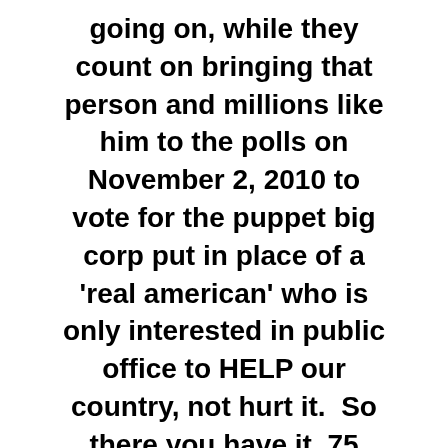going on, while they count on bringing that person and millions like him to the polls on November 2, 2010 to vote for the puppet big corp put in place of a 'real american' who is only interested in public office to HELP our country, not hurt it.  So there you have it, 75 million dollars coming in from foreign countries and 3 billionaires here in the states, all put into a fund set up to confuse and deceive,